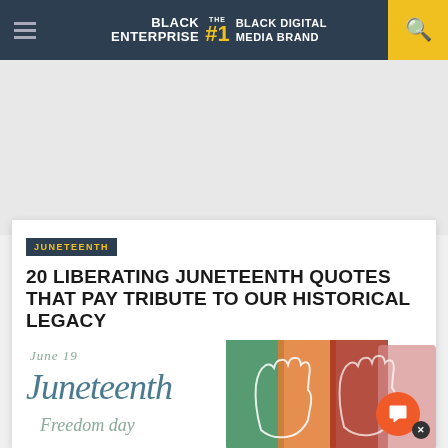BLACK ENTERPRISE THE #1 BLACK DIGITAL MEDIA BRAND
JUNETEENTH
20 LIBERATING JUNETEENTH QUOTES THAT PAY TRIBUTE TO OUR HISTORICAL LEGACY
[Figure (illustration): Juneteenth Freedom Day illustration with colorful brush strokes in green, orange, and red, showing raised fist outlines. Text reads 'June 19 Juneteenth Freedom day']